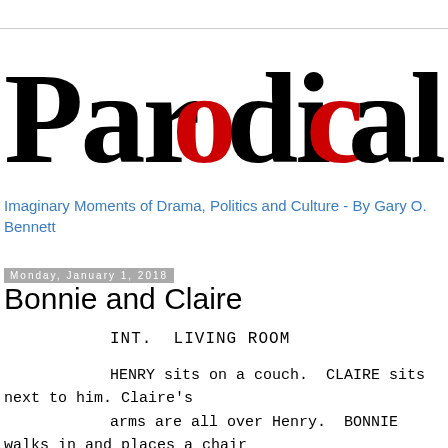[Figure (logo): Parodical masthead logo in blackletter font with the letters 'o' in 'Par' and 'D' in 'dical' colored red, rest in black]
Imaginary Moments of Drama, Politics and Culture - By Gary O. Bennett
Monday, January 1, 2018
Bonnie and Claire
INT.  LIVING ROOM
HENRY sits on a couch.  CLAIRE sits next to him. Claire's arms are all over Henry.  BONNIE walks in and places a chair